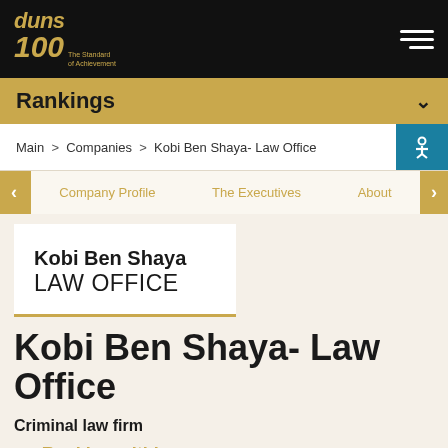[Figure (logo): Duns 100 - The Standard of Achievement logo, gold text on black background]
Rankings
Main > Companies > Kobi Ben Shaya- Law Office
Company Profile   The Executives   About
[Figure (logo): Kobi Ben Shaya LAW OFFICE company logo, bold text on white card with gold bottom border]
Kobi Ben Shaya- Law Office
Criminal law firm
Ranking within